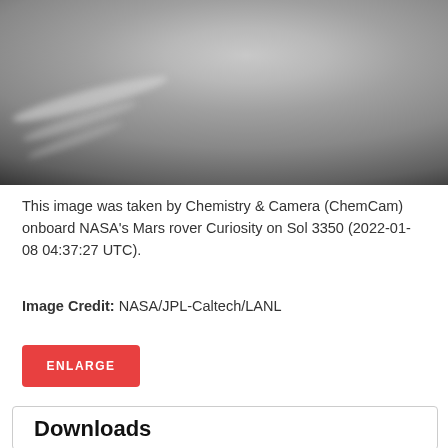[Figure (photo): Black and white image of Mars surface/atmosphere taken by ChemCam onboard NASA's Curiosity rover, showing cloud streaks against a grey curved horizon with black space background]
This image was taken by Chemistry & Camera (ChemCam) onboard NASA's Mars rover Curiosity on Sol 3350 (2022-01-08 04:37:27 UTC).
Image Credit: NASA/JPL-Caltech/LANL
ENLARGE
Downloads